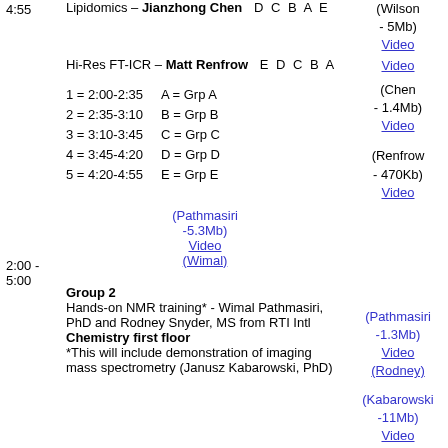4:55 | Lipidomics – Jianzhong Chen | D C B A E | (Wilson - 5Mb) Video
Hi-Res FT-ICR – Matt Renfrow | E D C B A | Video
1 = 2:00-2:35   A = Grp A
2 = 2:35-3:10   B = Grp B
3 = 3:10-3:45   C = Grp C
4 = 3:45-4:20   D = Grp D
5 = 4:20-4:55   E = Grp E
(Chen - 1.4Mb) Video
(Renfrow - 470Kb) Video
(Pathmasiri -5.3Mb) Video (Wimal)
2:00 - 5:00 | Group 2
Hands-on NMR training* - Wimal Pathmasiri, PhD and Rodney Snyder, MS from RTI Intl
Chemistry first floor
*This will include demonstration of imaging mass spectrometry (Janusz Kabarowski, PhD)
(Pathmasiri -1.3Mb) Video (Rodney)
(Kabarowski -11Mb) Video (Walters)